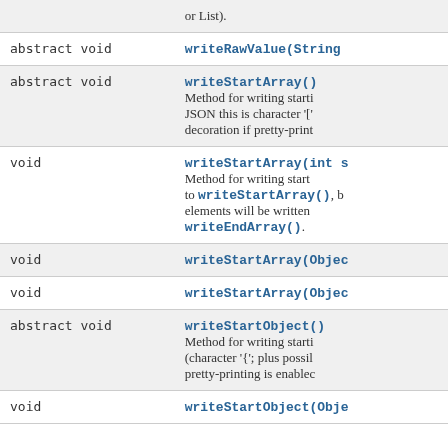| Type | Method and Description |
| --- | --- |
|  | or List). |
| abstract void | writeRawValue(String |
| abstract void | writeStartArray()
Method for writing starting marker of a JSON Array value (character '[' plus possible white space decoration if pretty-print |
| void | writeStartArray(int s
Method for writing start ... to writeStartArray(), b elements will be written writeEndArray(). |
| void | writeStartArray(Objec |
| void | writeStartArray(Objec |
| abstract void | writeStartObject()
Method for writing starti (character '{'; plus possil pretty-printing is enablec |
| void | writeStartObject(Obje |